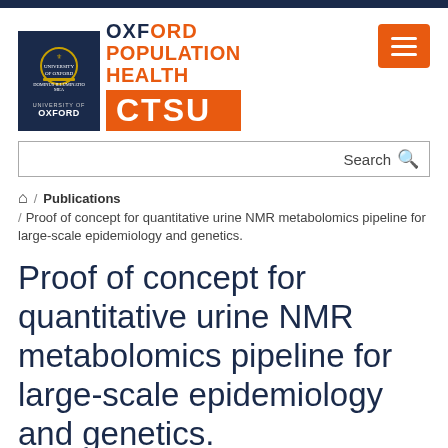[Figure (logo): Oxford Population Health CTSU logo with University of Oxford crest badge on left and text logo on right]
Search
/ Publications / Proof of concept for quantitative urine NMR metabolomics pipeline for large-scale epidemiology and genetics.
Proof of concept for quantitative urine NMR metabolomics pipeline for large-scale epidemiology and genetics.